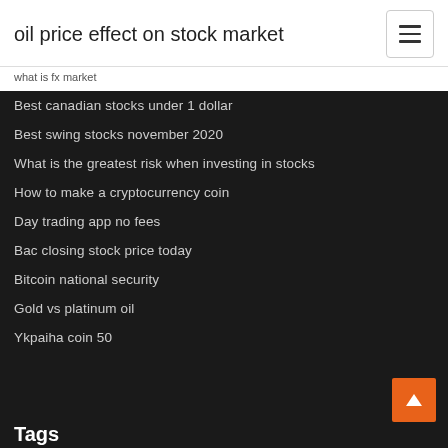oil price effect on stock market
what is fx market
Best canadian stocks under 1 dollar
Best swing stocks november 2020
What is the greatest risk when investing in stocks
How to make a cryptocurrency coin
Day trading app no fees
Bac closing stock price today
Bitcoin national security
Gold vs platinum oil
Ykpaiha coin 50
Tags